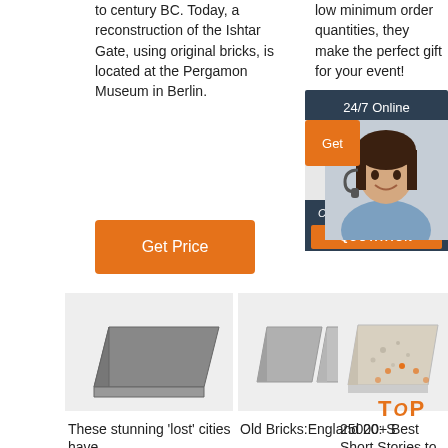to century BC. Today, a reconstruction of the Ishtar Gate, using original bricks, is located at the Pergamon Museum in Berlin.
low minimum order quantities, they make the perfect gift for your event!
Get Price
Get
[Figure (infographic): 24/7 Online chat widget with customer service representative image, 'Click here for free chat!' text, and orange QUOTATION button on dark navy background]
[Figure (photo): Dark gray brick product image]
[Figure (photo): Two light gray bricks product image]
[Figure (photo): Textured/speckled white brick product image]
[Figure (infographic): Orange TOP badge with dot arch decoration]
These stunning 'lost' cities have
Old Bricks:England 20: S
25000+ Best Short Stories to Read